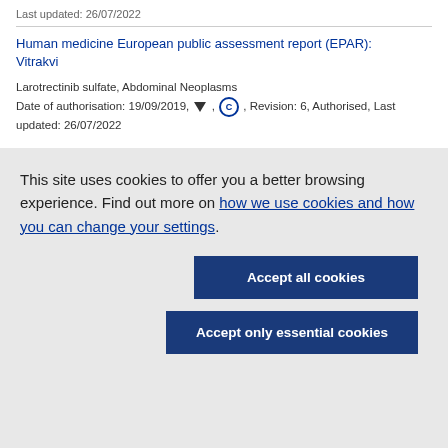Last updated: 26/07/2022
Human medicine European public assessment report (EPAR): Vitrakvi
Larotrectinib sulfate, Abdominal Neoplasms
Date of authorisation: 19/09/2019, ▼, C, Revision: 6, Authorised, Last updated: 26/07/2022
This site uses cookies to offer you a better browsing experience. Find out more on how we use cookies and how you can change your settings.
Accept all cookies
Accept only essential cookies